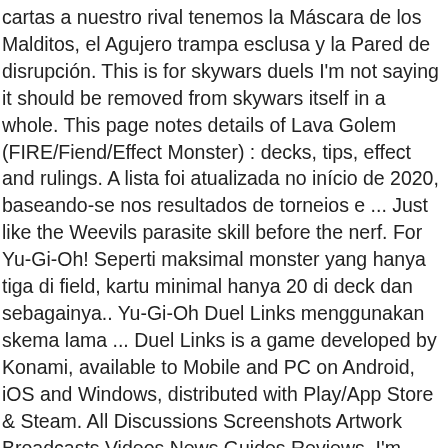cartas a nuestro rival tenemos la Máscara de los Malditos, el Agujero trampa esclusa y la Pared de disrupción. This is for skywars duels I'm not saying it should be removed from skywars itself in a whole. This page notes details of Lava Golem (FIRE/Fiend/Effect Monster) : decks, tips, effect and rulings. A lista foi atualizada no início de 2020, baseando-se nos resultados de torneios e ... Just like the Weevils parasite skill before the nerf. For Yu-Gi-Oh! Seperti maksimal monster yang hanya tiga di field, kartu minimal hanya 20 di deck dan sebagainya.. Yu-Gi-Oh Duel Links menggunakan skema lama ... Duel Links is a game developed by Konami, available to Mobile and PC on Android, iOS and Windows, distributed with Play/App Store & Steam. All Discussions Screenshots Artwork Broadcasts Videos News Guides Reviews. I'm glad that golem gets hit (seriously, fuck golem), but I'm not following the logic. Tbh I would rather they increase the LP instead, as all cards are made with 8k LP in mind. Lava Golem is useful for some stage missions. Deck de Espiritu Zombie en Yu-Gi-Oh! Por partida, você banirá aproximadamente 33 cartas, e levará